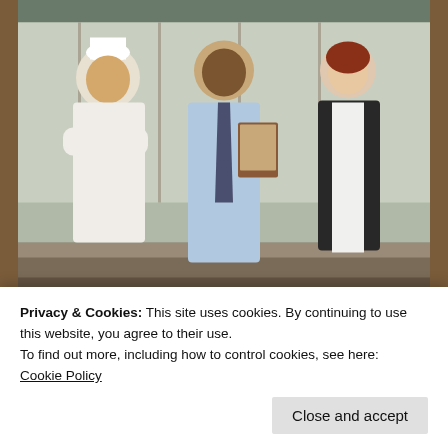[Figure (photo): Group photo of restaurant/hospitality staff: a chef in white uniform and hat, a man in a blue shirt and tie holding a clipboard, and a woman in a black vest, standing together in a restaurant setting.]
kaiser permanente Crew Member Jobs in Ashburn Apply...
[Figure (photo): Thumbnail photo of a blonde woman with glasses.]
Virginia Will Cover The Cost To Install Solar if You Live in Ashb...
Privacy & Cookies: This site uses cookies. By continuing to use this website, you agree to their use.
To find out more, including how to control cookies, see here: Cookie Policy
Close and accept